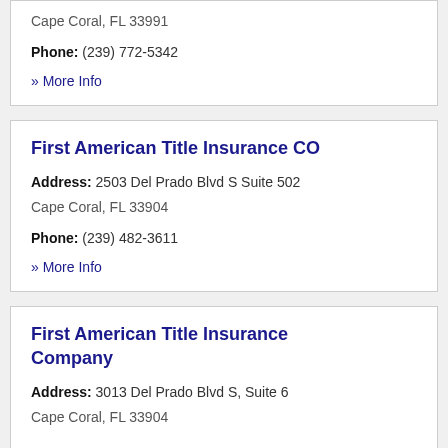Cape Coral, FL 33991
Phone: (239) 772-5342
» More Info
First American Title Insurance CO
Address: 2503 Del Prado Blvd S Suite 502 Cape Coral, FL 33904
Phone: (239) 482-3611
» More Info
First American Title Insurance Company
Address: 3013 Del Prado Blvd S, Suite 6 Cape Coral, FL 33904